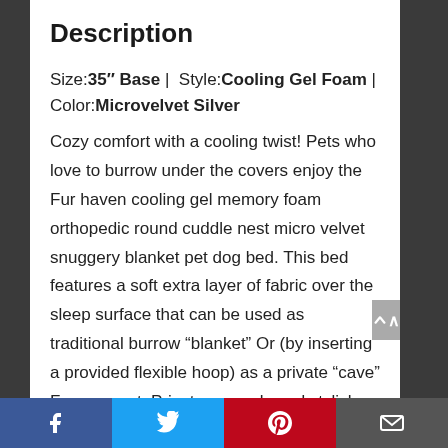Description
Size: 35" Base | Style: Cooling Gel Foam | Color: Microvelvet Silver
Cozy comfort with a cooling twist! Pets who love to burrow under the covers enjoy the Fur haven cooling gel memory foam orthopedic round cuddle nest micro velvet snuggery blanket pet dog bed. This bed features a soft extra layer of fabric over the sleep surface that can be used as traditional burrow “blanket” Or (by inserting a provided flexible hoop) as a private “cave” For your pet. Private, snuggly and stylish, the soft micro velvet fabric will blanket your pet in
Facebook | Twitter | Pinterest | Email